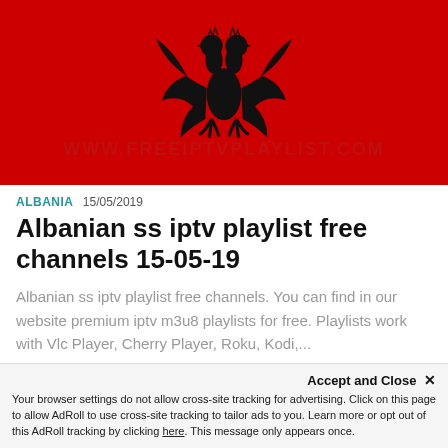[Figure (illustration): Albanian flag — red background with black double-headed eagle silhouette in center. Watermark text 'WWW.FREEIPTVPLAYLIST.COM' overlaid in semi-transparent letters across lower portion of flag.]
ALBANIA  15/05/2019
Albanian ss iptv playlist free channels 15-05-19
Albanian ss iptv playlist free channels. You can find in our website premium iptv m3u8 playlists for free. Playlists work with Vlc Player, Cherry Player, Roku, Kodi,...
Accept and Close ×
Your browser settings do not allow cross-site tracking for advertising. Click on this page to allow AdRoll to use cross-site tracking to tailor ads to you. Learn more or opt out of this AdRoll tracking by clicking here. This message only appears once.